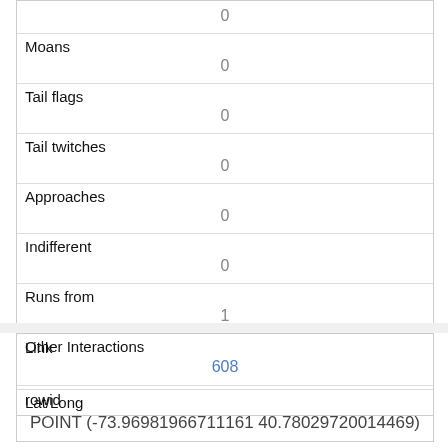| 0 (top partial) |
| Moans | 0 |
| Tail flags | 0 |
| Tail twitches | 0 |
| Approaches | 0 |
| Indifferent | 0 |
| Runs from | 1 |
| Other Interactions |  |
| Lat/Long | POINT (-73.96981966711161 40.78029720014469) |
| Link | 608 |
| rowid |  |